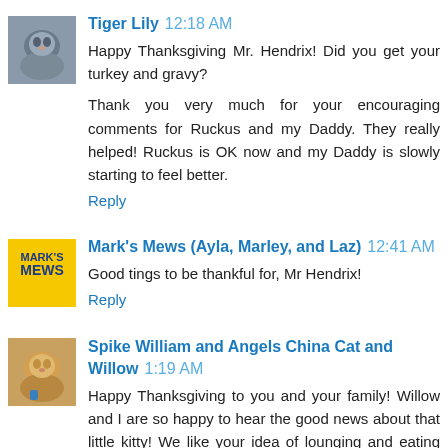[Figure (photo): Avatar photo of a gray cat (Tiger Lily)]
Tiger Lily 12:18 AM
Happy Thanksgiving Mr. Hendrix! Did you get your turkey and gravy?
Thank you very much for your encouraging comments for Ruckus and my Daddy. They really helped! Ruckus is OK now and my Daddy is slowly starting to feel better.
Reply
[Figure (logo): Mark's Mews yellow logo avatar]
Mark's Mews (Ayla, Marley, and Laz) 12:41 AM
Good tings to be thankful for, Mr Hendrix!
Reply
[Figure (photo): Avatar photo of an orange cat (Spike William)]
Spike William and Angels China Cat and Willow 1:19 AM
Happy Thanksgiving to you and your family! Willow and I are so happy to hear the good news about that little kitty! We like your idea of lounging and eating turkey - hope you